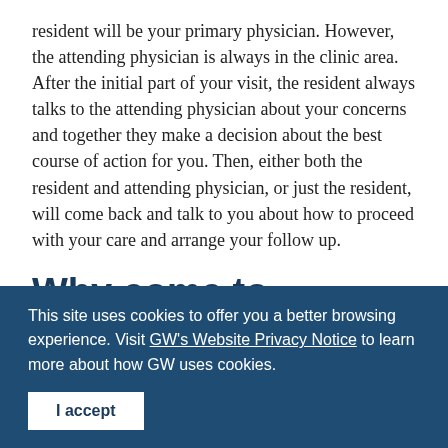resident will be your primary physician. However, the attending physician is always in the clinic area. After the initial part of your visit, the resident always talks to the attending physician about your concerns and together they make a decision about the best course of action for you. Then, either both the resident and attending physician, or just the resident, will come back and talk to you about how to proceed with your care and arrange your follow up.
Why come to Resident Clinic?
This site uses cookies to offer you a better browsing experience. Visit GW's Website Privacy Notice to learn more about how GW uses cookies.